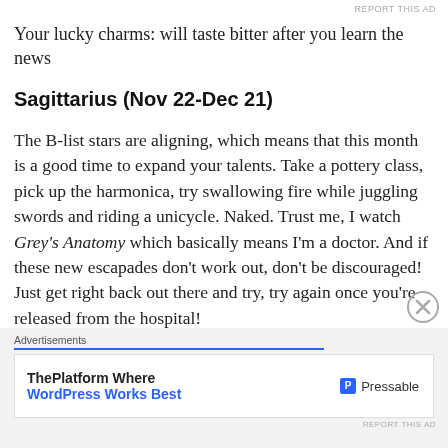REPORT THIS AD
Your lucky charms: will taste bitter after you learn the news
Sagittarius (Nov 22-Dec 21)
The B-list stars are aligning, which means that this month is a good time to expand your talents. Take a pottery class, pick up the harmonica, try swallowing fire while juggling swords and riding a unicycle. Naked. Trust me, I watch Grey’s Anatomy which basically means I’m a doctor. And if these new escapades don’t work out, don’t be discouraged! Just get right back out there and try, try again once you’re released from the hospital!
Things to avoid: Nothing! Stare death in the face while
[Figure (other): Advertisement banner: ThePlatform Where WordPress Works Best - Pressable]
REPORT THIS AD